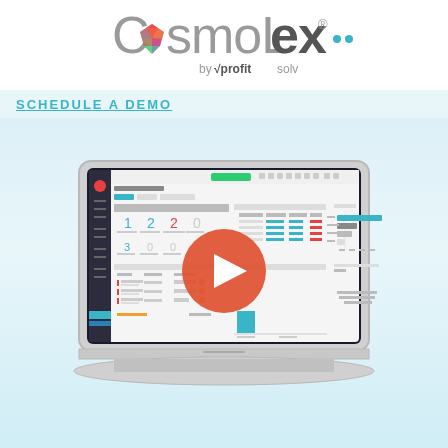[Figure (logo): CosmoLex by ProfitSolv logo with colorful gem icon and three dots]
SCHEDULE A DEMO
[Figure (screenshot): Laptop displaying CosmoLex legal practice management software dashboard with a red play button overlay indicating a video]